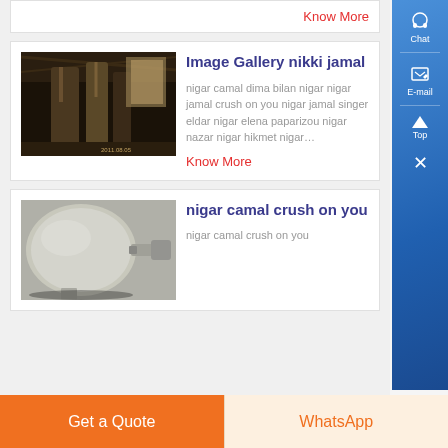Know More
[Figure (photo): Industrial silo/storage facility interior]
Image Gallery nikki jamal
nigar camal dima bilan nigar nigar jamal crush on you nigar jamal singer eldar nigar elena paparizou nigar nazar nigar hikmet nigar…
Know More
[Figure (photo): Industrial pressure vessel or tank close-up]
nigar camal crush on you
nigar camal crush on you
Get a Quote   WhatsApp